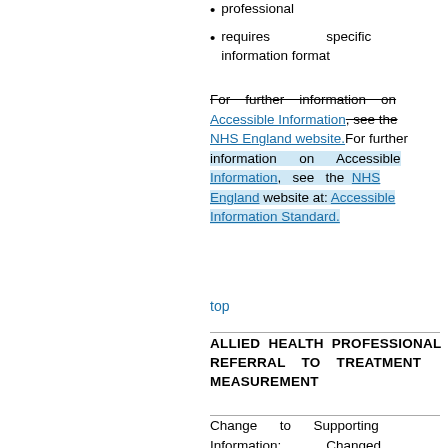professional
requires specific information format
For further information on Accessible Information, see the NHS England website.For further information on Accessible Information, see the NHS England website at: Accessible Information Standard.
top
ALLIED HEALTH PROFESSIONAL REFERRAL TO TREATMENT MEASUREMENT
Change to Supporting Information: Changed